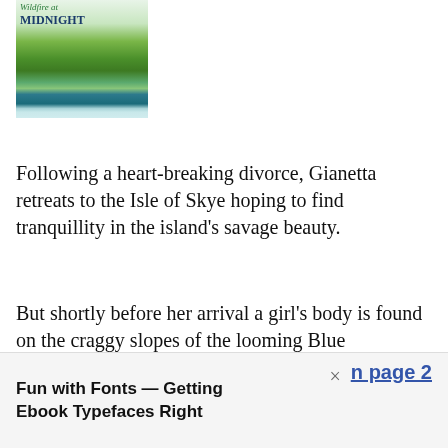[Figure (illustration): Book cover for 'Wildfire at Midnight' showing a scenic illustration with mountains, green hillsides, water, and the title text]
Following a heart-breaking divorce, Gianetta retreats to the Isle of Skye hoping to find tranquillity in the island's savage beauty.
But shortly before her arrival a girl's body is found on the craggy slopes of the looming Blue Mountain, and with the murderer still on the loose, there's nothing to stop him from setting his sights on Gianetta next . . .
Fun with Fonts — Getting Ebook Typefaces Right × n page 2